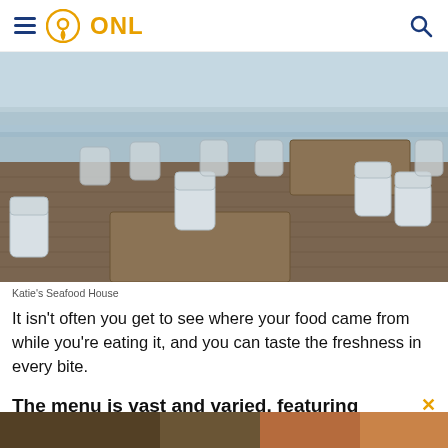ONL navigation header with hamburger menu, location pin logo, ONL text, and search icon
[Figure (photo): Outdoor patio of Katie's Seafood House with white metal chairs and wooden tables on a deck, water visible in background]
Katie's Seafood House
It isn't often you get to see where your food came from while you're eating it, and you can taste the freshness in every bite.
The menu is vast and varied, featuring
everything from appetizers to salads to mouthwatering entrees.
[Figure (photo): Partial bottom photo of food or restaurant scene, mostly cut off]